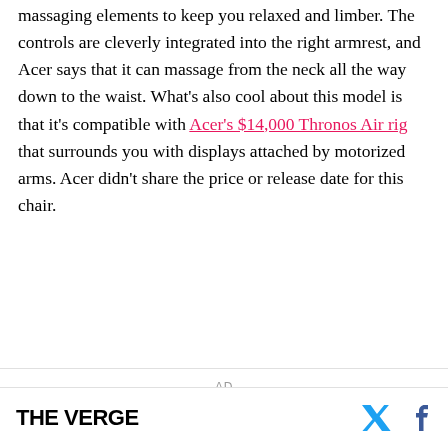massaging elements to keep you relaxed and limber. The controls are cleverly integrated into the right armrest, and Acer says that it can massage from the neck all the way down to the waist. What's also cool about this model is that it's compatible with Acer's $14,000 Thronos Air rig that surrounds you with displays attached by motorized arms. Acer didn't share the price or release date for this chair.
AD
THE VERGE